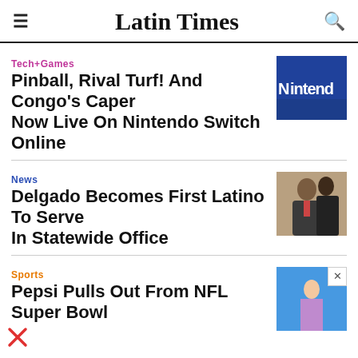Latin Times
Tech+Games
Pinball, Rival Turf! And Congo's Caper Now Live On Nintendo Switch Online
[Figure (photo): Nintendo sign with blue lighting]
News
Delgado Becomes First Latino To Serve In Statewide Office
[Figure (photo): Man in suit speaking at podium]
Sports
Pepsi Pulls Out From NFL Super Bowl
[Figure (photo): Sports performer on stage with blue lighting]